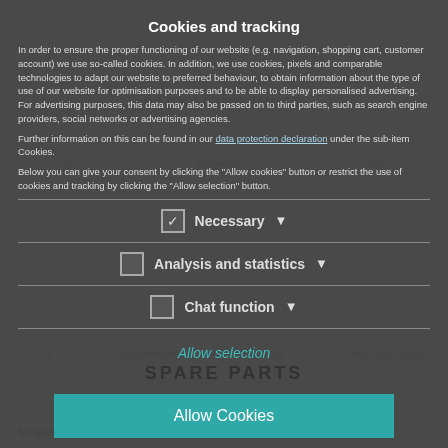Cookies and tracking
In order to ensure the proper functioning of our website (e.g. navigation, shopping cart, customer account) we use so-called cookies. In addition, we use cookies, pixels and comparable technologies to adapt our website to preferred behaviour, to obtain information about the type of use of our website for optimisation purposes and to be able to display personalised advertising. For advertising purposes, this data may also be passed on to third parties, such as search engine providers, social networks or advertising agencies.
Further information on this can be found in our data protection declaration under the sub-item Cookies.
Below you can give your consent by clicking the "Allow cookies" button or restrict the use of cookies and tracking by clicking the "Allow selection" button.
Necessary
Analysis and statistics
Chat function
Allow selection
Allow Cookies
No spare parts available.